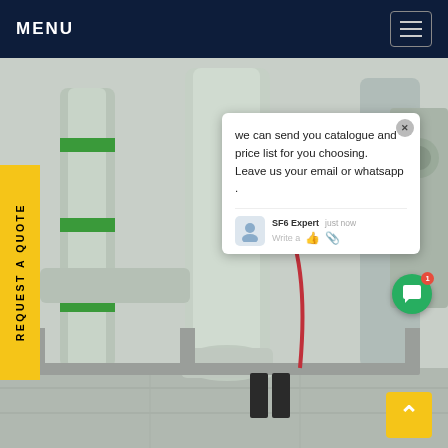MENU
[Figure (photo): Industrial SF6 gas equipment / large pipe and vessel assemblies mounted on metal frames inside a facility, with green-banded pipes and cylindrical pressure vessels visible]
REQUEST A QUOTE
we can send you catalogue and price list for you choosing.
Leave us your email or whatsapp .
SF6 Expert   just now
Write a